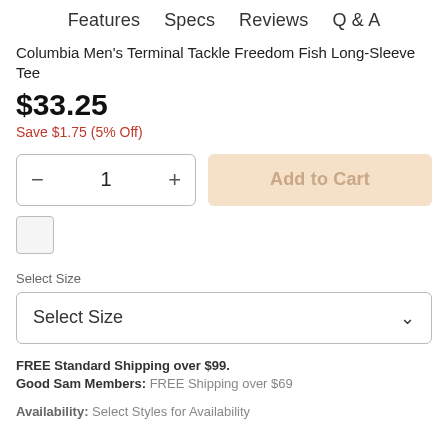Features   Specs   Reviews   Q & A
Columbia Men's Terminal Tackle Freedom Fish Long-Sleeve Tee
$33.25
Save $1.75 (5% Off)
1
Add to Cart
Select Size
Select Size
FREE Standard Shipping over $99.
Good Sam Members: FREE Shipping over $69
Availability:  Select Styles for Availability